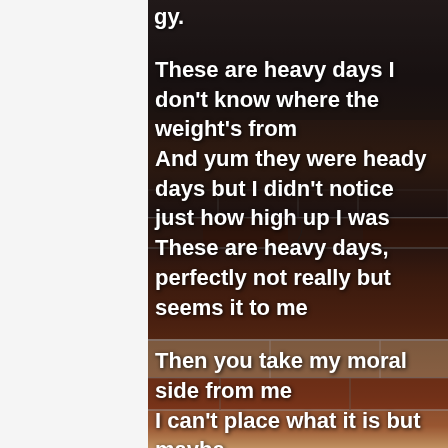gy.
These are heavy days I don't know where the weight's from
And yum they were heady days but I didn't notice just how high up I was
These are heavy days, perfectly not really but seems it to me

Then you take my moral side from me
I can't place what it is but maybe
Maybe
Seems to
Be your
Face